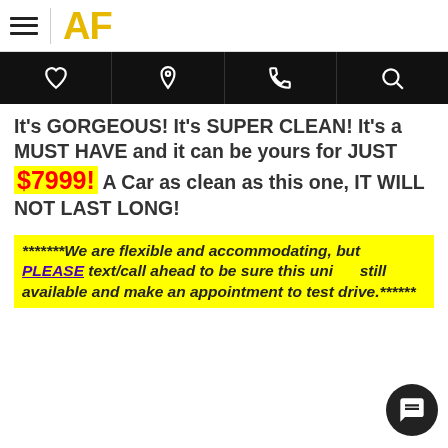AF
It's GORGEOUS! It's SUPER CLEAN! It's a MUST HAVE and it can be yours for JUST $7999! A Car as clean as this one, IT WILL NOT LAST LONG!
*******We are flexible and accommodating, but PLEASE text/call ahead to be sure this unit is still available and make an appointment to test drive.******